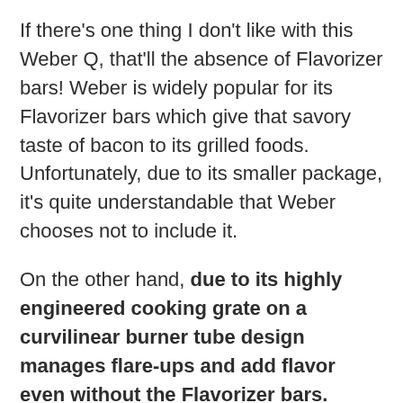If there's one thing I don't like with this Weber Q, that'll the absence of Flavorizer bars! Weber is widely popular for its Flavorizer bars which give that savory taste of bacon to its grilled foods. Unfortunately, due to its smaller package, it's quite understandable that Weber chooses not to include it.
On the other hand, due to its highly engineered cooking grate on a curvilinear burner tube design manages flare-ups and add flavor even without the Flavorizer bars.
Slightly lighter than the RoadTrip at around 45 pounds, the Weber Q2200 is an excellent option for the best portable gas grills for under 300 bucks. You'll love its flexibility, ease of use and cooking prowess. Let us not forget that Weber is an American company! So, who can